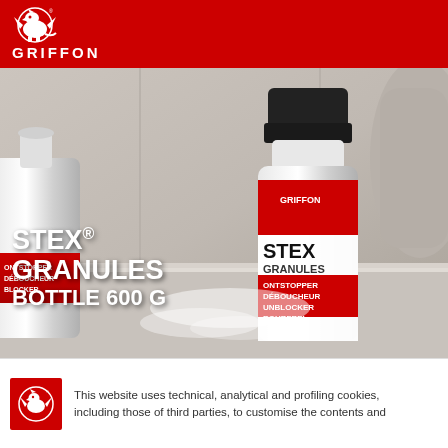[Figure (logo): Griffon brand logo — white griffin/dragon icon above GRIFFON text on red background]
[Figure (photo): Product photo showing two STEX Granules Entstopper/Déboucheur/Unblocker bottles near a bathtub drain, with a hand reaching in from the right. Text overlay reads STEX® GRANULES BOTTLE 600 G.]
STEX® GRANULES BOTTLE 600 G
This website uses technical, analytical and profiling cookies, including those of third parties, to customise the contents and